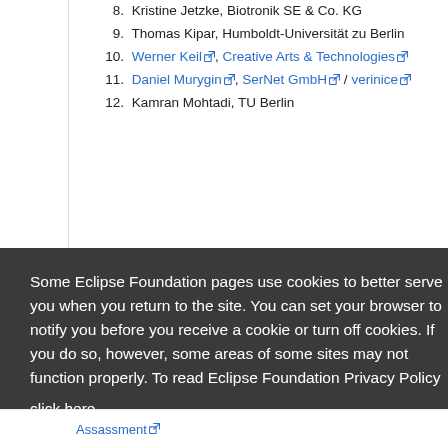8. Kristine Jetzke, Biotronik SE & Co. KG
9. Thomas Kipar, Humboldt-Universität zu Berlin
10. Werner Keil, Creative Arts & Technologies
11. Daniel Murygin, SerNet GmbH / verinice
12. Kamran Mohtadi, TU Berlin
Some Eclipse Foundation pages use cookies to better serve you when you return to the site. You can set your browser to notify you before you receive a cookie or turn off cookies. If you do so, however, some areas of some sites may not function properly. To read Eclipse Foundation Privacy Policy click here.
Assassment